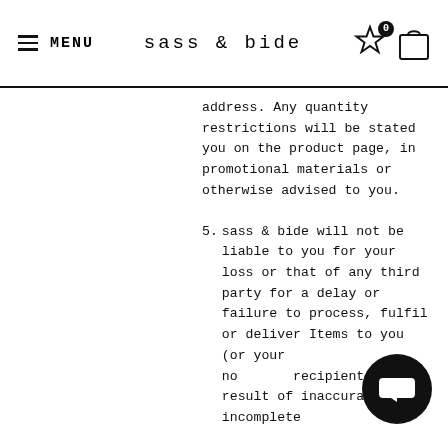MENU  sass & bide
address. Any quantity restrictions will be stated you on the product page, in promotional materials or otherwise advised to you.
5. sass & bide will not be liable to you for your loss or that of any third party for a delay or failure to process, fulfil or deliver Items to you (or your nominated recipient) as a result of inaccurate or incomplete